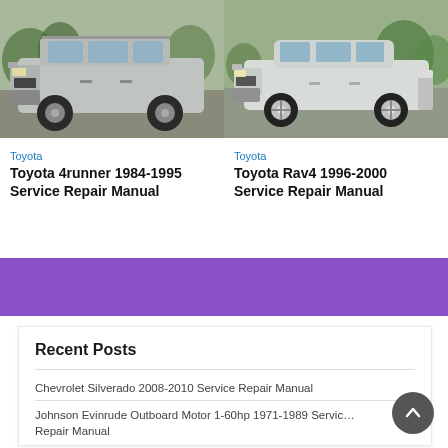[Figure (photo): Silver Toyota 4Runner SUV parked on a driveway, front three-quarter view]
[Figure (photo): White Toyota RAV4 SUV parked, front three-quarter view]
Toyota
Toyota 4runner 1984-1995 Service Repair Manual
Toyota
Toyota Rav4 1996-2000 Service Repair Manual
Recent Posts
Chevrolet Silverado 2008-2010 Service Repair Manual
Johnson Evinrude Outboard Motor 1-60hp 1971-1989 Service Repair Manual